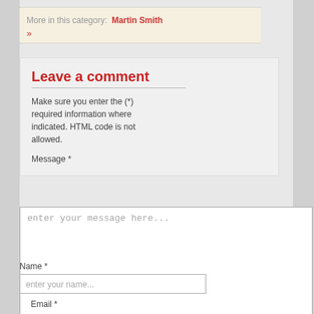More in this category: Martin Smith »
Leave a comment
Make sure you enter the (*) required information where indicated. HTML code is not allowed.
Message *
enter your message here...
Name *
enter your name...
Email *